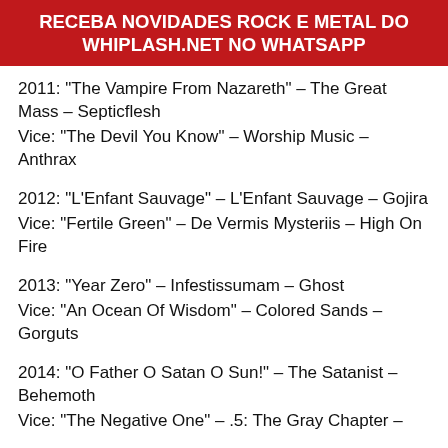RECEBA NOVIDADES ROCK E METAL DO WHIPLASH.NET NO WHATSAPP
2011: "The Vampire From Nazareth" – The Great Mass – Septicflesh
Vice: "The Devil You Know" – Worship Music – Anthrax
2012: "L'Enfant Sauvage" – L'Enfant Sauvage – Gojira
Vice: "Fertile Green" – De Vermis Mysteriis – High On Fire
2013: "Year Zero" – Infestissumam – Ghost
Vice: "An Ocean Of Wisdom" – Colored Sands – Gorguts
2014: "O Father O Satan O Sun!" – The Satanist – Behemoth
Vice: "The Negative One" – .5: The Gray Chapter –